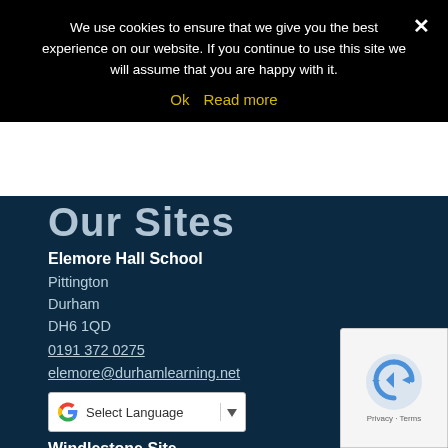We use cookies to ensure that we give you the best experience on our website. If you continue to use this site we will assume that you are happy with it.
Ok  Read more
Our Sites
Elemore Hall School
Pittington
Durham
DH6 1QD
0191 372 0275
elemore@durhamlearning.net
[Figure (screenshot): Google Translate widget with Select Language dropdown]
Windlestone Site
Chilton,
Ferryhill,
[Figure (logo): reCAPTCHA badge with Privacy and Terms links]